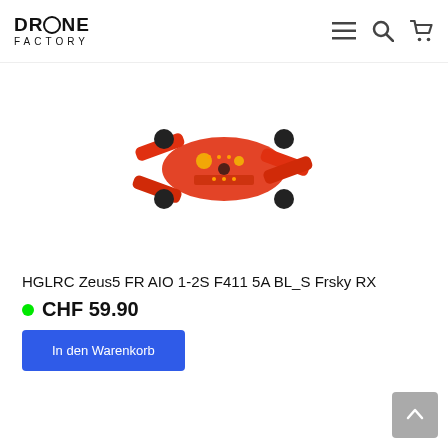DRONE FACTORY
[Figure (photo): Red and orange HGLRC Zeus5 drone flight controller board photographed from above on white background]
HGLRC Zeus5 FR AIO 1-2S F411 5A BL_S Frsky RX
CHF 59.90
In den Warenkorb